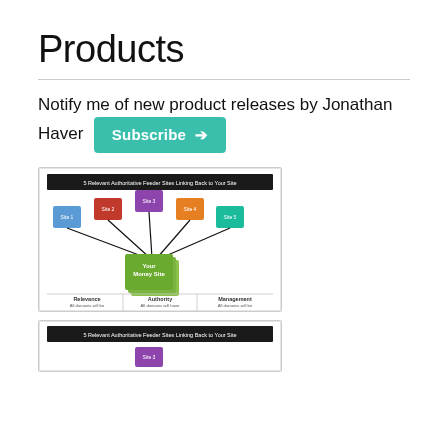Products
Notify me of new product releases by Jonathan Haver
Subscribe
[Figure (infographic): Infographic showing 5 Relevant Authoritative Feeder Sites Linking Back to Your Site. Five colored squares (Site 1 blue, Site 2 red, Site 3 purple, Site 4 orange, Site 5 teal) with arrows pointing down to a stacked green square labeled 'Your Money Site'. Below are three columns: Relevance, Authority, Management with descriptive text.]
[Figure (infographic): Second partially visible infographic similar to the first, showing 5 Relevant Authoritative Feeder Sites Linking Back to Your Site.]